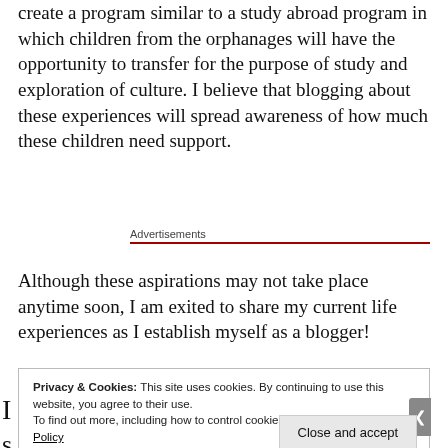create a program similar to a study abroad program in which children from the orphanages will have the opportunity to transfer for the purpose of study and exploration of culture.  I believe that blogging about these experiences will spread awareness of how much these children need support.
Advertisements
Although these aspirations may not take place anytime soon, I am exited to share my current life experiences as I establish myself as a blogger!
Privacy & Cookies: This site uses cookies. By continuing to use this website, you agree to their use.
To find out more, including how to control cookies, see here: Cookie Policy
Close and accept